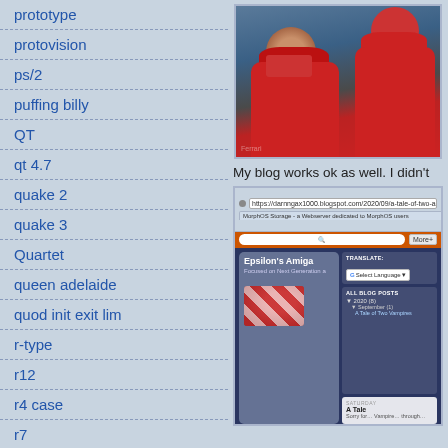prototype
protovision
ps/2
puffing billy
QT
qt 4.7
quake 2
quake 3
Quartet
queen adelaide
quod init exit lim
r-type
r12
r4 case
r7
racing
racing game
radeon
[Figure (screenshot): Screenshot of a browser showing two people in red Ferrari racing gear with face masks]
My blog works ok as well. I didn't
[Figure (screenshot): Screenshot of Epsilon's Amiga blog with browser chrome, showing blog title 'Epsilon's Amiga', subtitle 'Focused on Next Generation a', translate widget, all blog posts sidebar, and a 'A Tale of Two Vampires' post excerpt]